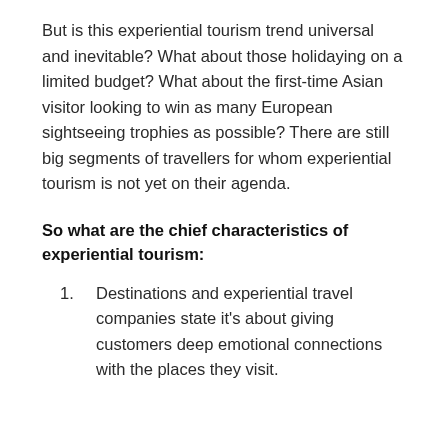But is this experiential tourism trend universal and inevitable? What about those holidaying on a limited budget? What about the first-time Asian visitor looking to win as many European sightseeing trophies as possible? There are still big segments of travellers for whom experiential tourism is not yet on their agenda.
So what are the chief characteristics of experiential tourism:
Destinations and experiential travel companies state it's about giving customers deep emotional connections with the places they visit.